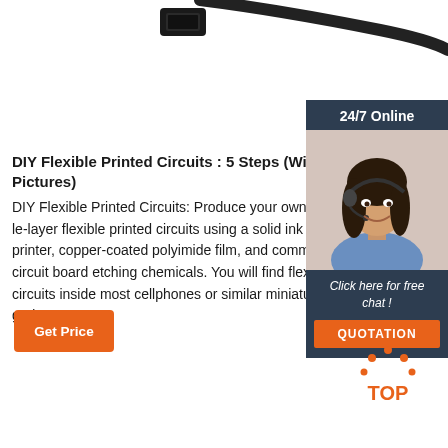[Figure (photo): USB cable connector end visible at top of page, black cable on white background]
[Figure (photo): 24/7 Online customer service widget: dark blue header with '24/7 Online', photo of woman with headset smiling, text 'Click here for free chat !', orange QUOTATION button]
DIY Flexible Printed Circuits : 5 Steps (With Pictures)
DIY Flexible Printed Circuits: Produce your own single-layer flexible printed circuits using a solid ink printer, copper-coated polyimide film, and common circuit board etching chemicals. You will find flex circuits inside most cellphones or similar miniaturized gadgets.
[Figure (other): Orange 'Get Price' button]
[Figure (other): Orange and gray 'TOP' scroll-to-top button with dot arc design, bottom right corner]